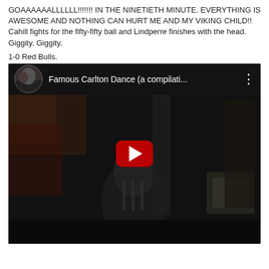GOAAAAAALLLLLL!!!!!!! IN THE NINETIETH MINUTE. EVERYTHING IS AWESOME AND NOTHING CAN HURT ME AND MY VIKING CHILD!! Cahill fights for the fifty-fifty ball and Lindperre finishes with the head. Giggity. Giggity.
1-0 Red Bulls.
[Figure (screenshot): Embedded YouTube video thumbnail showing 'Famous Carlton Dance (a compilati...' with a dark video frame showing a figure dancing, YouTube play button overlay, channel thumbnail in top left corner.]